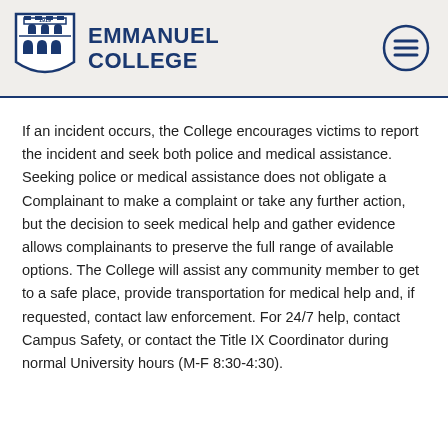EMMANUEL COLLEGE
If an incident occurs, the College encourages victims to report the incident and seek both police and medical assistance. Seeking police or medical assistance does not obligate a Complainant to make a complaint or take any further action, but the decision to seek medical help and gather evidence allows complainants to preserve the full range of available options. The College will assist any community member to get to a safe place, provide transportation for medical help and, if requested, contact law enforcement. For 24/7 help, contact Campus Safety, or contact the Title IX Coordinator during normal University hours (M-F 8:30-4:30).